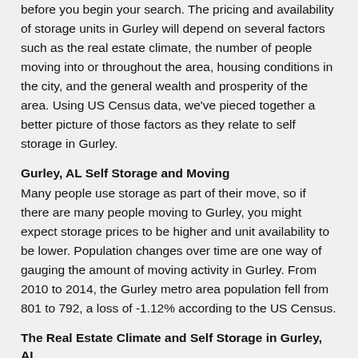before you begin your search. The pricing and availability of storage units in Gurley will depend on several factors such as the real estate climate, the number of people moving into or throughout the area, housing conditions in the city, and the general wealth and prosperity of the area. Using US Census data, we've pieced together a better picture of those factors as they relate to self storage in Gurley.
Gurley, AL Self Storage and Moving
Many people use storage as part of their move, so if there are many people moving to Gurley, you might expect storage prices to be higher and unit availability to be lower. Population changes over time are one way of gauging the amount of moving activity in Gurley. From 2010 to 2014, the Gurley metro area population fell from 801 to 792, a loss of -1.12% according to the US Census.
The Real Estate Climate and Self Storage in Gurley, AL
One way to get an idea of the demand for housing and storage space in Gurley is to look at housing occupancy and vacancy rates. If housing occupancy rates in Gurley are high, it's probably safe to assume that storage facility occupancy rates in Gurley are also high, which would push unit prices up. The US Census estimates that housing vacancy rates in Gurley are at 14%, while the occupancy rate is at 86%. That's a higher rate than average for US cities, suggesting